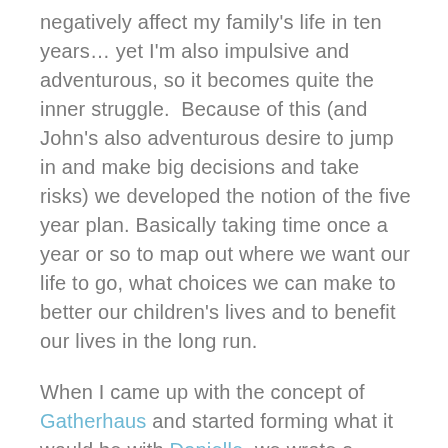negatively affect my family's life in ten years… yet I'm also impulsive and adventurous, so it becomes quite the inner struggle.  Because of this (and John's also adventurous desire to jump in and make big decisions and take risks) we developed the notion of the five year plan. Basically taking time once a year or so to map out where we want our life to go, what choices we can make to better our children's lives and to benefit our lives in the long run.
When I came up with the concept of Gatherhaus and started forming what it would be with Danielle, we wrote a guideline of how we try to live our lives with purpose and intent and titled it our Life Values…and John and I revisit that when we talk about life, always thinking forward but being purposeful about living in the moment.